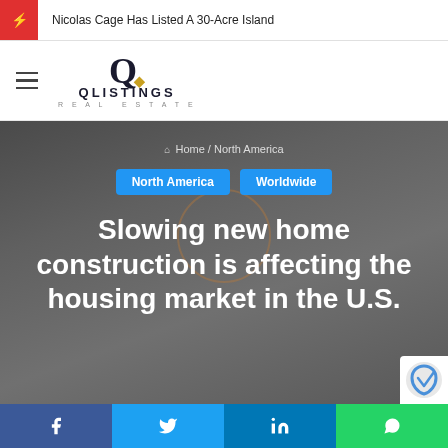Nicolas Cage Has Listed A 30-Acre Island
[Figure (logo): QListings Real Estate logo with stylized Q and text QLISTINGS REAL ESTATE]
Home / North America
North America   Worldwide
Slowing new home construction is affecting the housing market in the U.S.
[Figure (infographic): Social share bar with Facebook, Twitter, LinkedIn, and WhatsApp buttons]